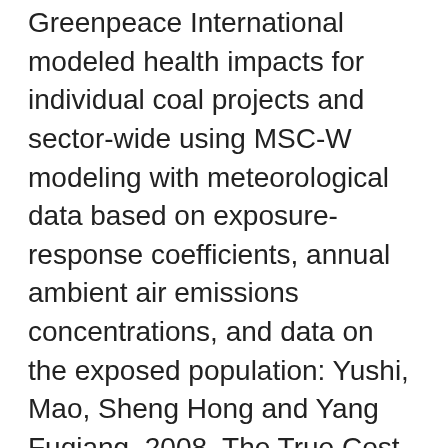Greenpeace International modeled health impacts for individual coal projects and sector-wide using MSC-W modeling with meteorological data based on exposure-response coefficients, annual ambient air emissions concentrations, and data on the exposed population: Yushi, Mao, Sheng Hong and Yang Fuqiang, 2008. The True Cost of Coal. Greenpeace. Available at: http://www.greenpeace.org/eastasia/PageFiles/3true-cost-of-coal.pdf; Data for Ozone, Particulate Matter, NOx, and SO2 is available at http://www.epa.gov/airquality/urbanair/ Health: mercury, lead, cadmium} Health impacts from coal power plants and mining